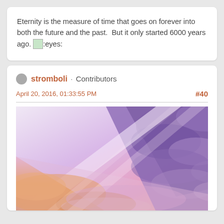Eternity is the measure of time that goes on forever into both the future and the past. But it only started 6000 years ago. [eyes emoji]
stromboli · Contributors
April 20, 2016, 01:33:55 PM
#40
[Figure (illustration): Painting or digital art of a sky scene with purple and pink clouds, warm sunset orange and gold tones near the horizon, with a diagonal composition from lower-left to upper-right.]